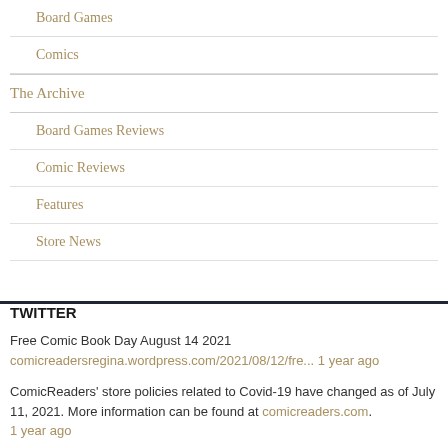Board Games
Comics
The Archive
Board Games Reviews
Comic Reviews
Features
Store News
TWITTER
Free Comic Book Day August 14 2021 comicreadersregina.wordpress.com/2021/08/12/fre... 1 year ago
ComicReaders' store policies related to Covid-19 have changed as of July 11, 2021. More information can be found at comicreaders.com. 1 year ago